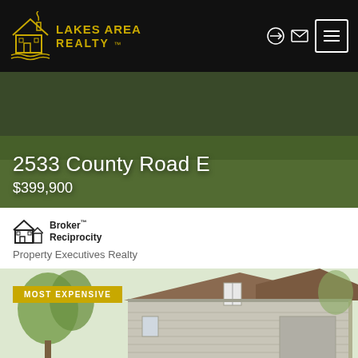Lakes Area Realty
2533 County Road E
$399,900
[Figure (logo): Broker Reciprocity logo with house icon]
Property Executives Realty
[Figure (photo): Photo of a two-story house with gray/beige vinyl siding, brown shingle roof, and trees in background. Badge reads MOST EXPENSIVE.]